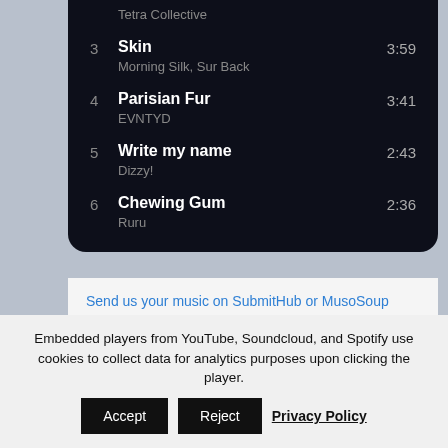Tetra Collective
3  Skin  3:59
Morning Silk, Sur Back
4  Parisian Fur  3:41
EVNTYD
5  Write my name  2:43
Dizzy!
6  Chewing Gum  2:36
Ruru
Send us your music on SubmitHub or MusoSoup
Send us your music →
Embedded players from YouTube, Soundcloud, and Spotify use cookies to collect data for analytics purposes upon clicking the player.